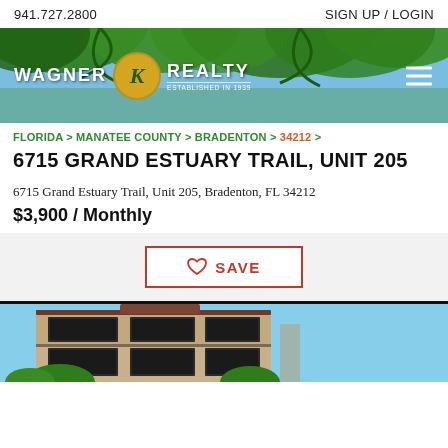941.727.2800   SIGN UP / LOGIN
[Figure (photo): Wagner Realty banner with palm trees background, logo with gold circle, hamburger menu icon]
FLORIDA > MANATEE COUNTY > BRADENTON > 34212 >
6715 GRAND ESTUARY TRAIL, UNIT 205
6715 Grand Estuary Trail, Unit 205, Bradenton, FL 34212
$3,900 / Monthly
♡ SAVE
[Figure (photo): Exterior photo of a two-story residential building with balconies, screened enclosures, and tile roof, surrounded by greenery and blue sky]